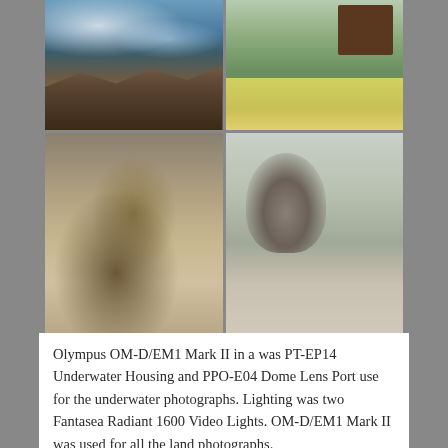[Figure (photo): 2x2 grid of four photographs: top-left shows rocky coastline with crashing waves, top-right shows a small wooden shed/structure with white gravel bed on green grass, bottom-left shows a large iguana resting on rocks, bottom-right shows pigeons standing on a rocky surface.]
Olympus OM-D/EM1 Mark II in a was PT-EP14 Underwater Housing and PPO-E04 Dome Lens Port use for the underwater photographs. Lighting was two Fantasea Radiant 1600 Video Lights. OM-D/EM1 Mark II was used for all the land photographs.